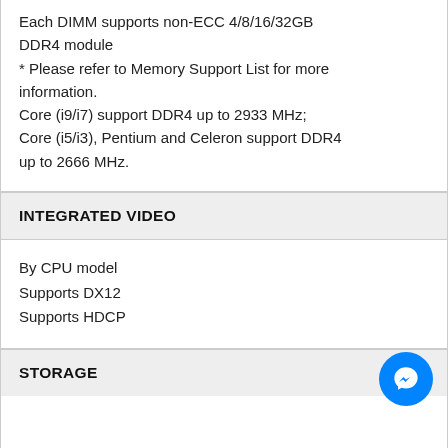Each DIMM supports non-ECC 4/8/16/32GB DDR4 module
* Please refer to Memory Support List for more information.
Core (i9/i7) support DDR4 up to 2933 MHz; Core (i5/i3), Pentium and Celeron support DDR4 up to 2666 MHz.
INTEGRATED VIDEO
By CPU model
Supports DX12
Supports HDCP
STORAGE